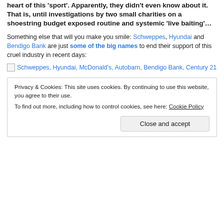heart of this 'sport'. Apparently, they didn't even know about it. That is, until investigations by two small charities on a shoestring budget exposed routine and systemic 'live baiting'…
Something else that will you make you smile: Schweppes, Hyundai and Bendigo Bank are just some of the big names to end their support of this cruel industry in recent days:
[Figure (other): Broken image placeholder showing logos: Schweppes, Hyundai, McDonald's, Autobarn, Bendigo Bank, Century 21]
Privacy & Cookies: This site uses cookies. By continuing to use this website, you agree to their use. To find out more, including how to control cookies, see here: Cookie Policy
Close and accept